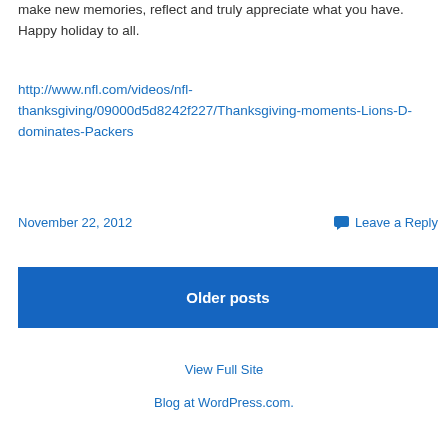make new memories, reflect and truly appreciate what you have. Happy holiday to all.
http://www.nfl.com/videos/nfl-thanksgiving/09000d5d8242f227/Thanksgiving-moments-Lions-D-dominates-Packers
November 22, 2012
Leave a Reply
Older posts
View Full Site
Blog at WordPress.com.